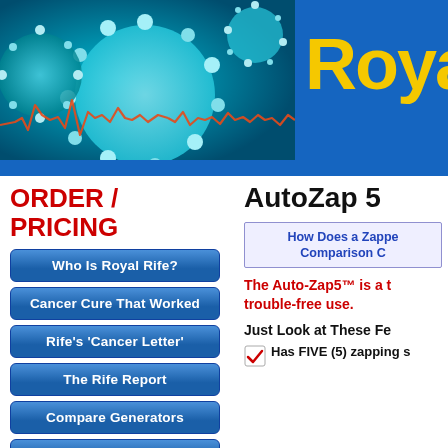[Figure (photo): Microscopic virus/cell image with orange heartbeat/waveform line overlay, on blue background]
Roya
ORDER / PRICING
Who Is Royal Rife?
Cancer Cure That Worked
Rife's 'Cancer Letter'
The Rife Report
Compare Generators
Our Generator Specs
Frequent Questions
AutoZap 5
How Does a Zappe
Comparison C
The Auto-Zap5™ is a t trouble-free use.
Just Look at These Fe
Has FIVE (5) zapping s